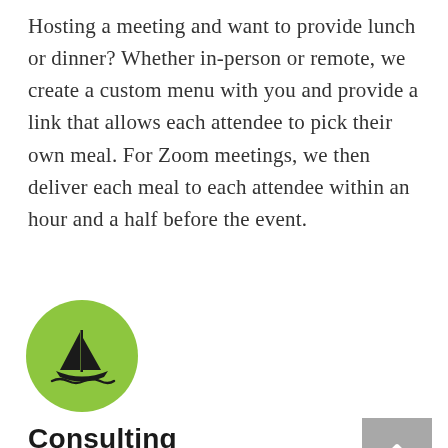Hosting a meeting and want to provide lunch or dinner? Whether in-person or remote, we create a custom menu with you and provide a link that allows each attendee to pick their own meal. For Zoom meetings, we then deliver each meal to each attendee within an hour and a half before the event.
[Figure (illustration): Green circular icon with a black sailboat silhouette on water waves]
Consulting
Aloha Culinary Group provides consulting for catering and banquet communities. We have provided consulting to startups to some of the most prominent on and off premise